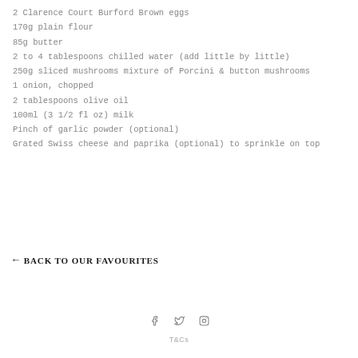2 Clarence Court Burford Brown eggs
170g plain flour
85g butter
2 to 4 tablespoons chilled water (add little by little)
250g sliced mushrooms mixture of Porcini & button mushrooms
1 onion, chopped
2 tablespoons olive oil
100ml (3 1/2 fl oz) milk
Pinch of garlic powder (optional)
Grated Swiss cheese and paprika (optional) to sprinkle on top
← BACK TO OUR FAVOURITES
f  t  o   T&Cs